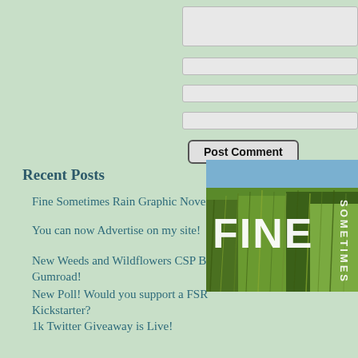[Figure (screenshot): Form input fields (text area and text boxes) for posting a comment]
Post Comment
Recent Posts
Fine Sometimes Rain Graphic Novel Volume 1
You can now Advertise on my site!
New Weeds and Wildflowers CSP Brushes up on Gumroad!
New Poll! Would you support a FSR Kickstarter?
1k Twitter Giveaway is Live!
[Figure (illustration): Book cover for 'Fine Sometimes Rain' showing grass/wheat field with the words FINE and SOMETIMES in white text]